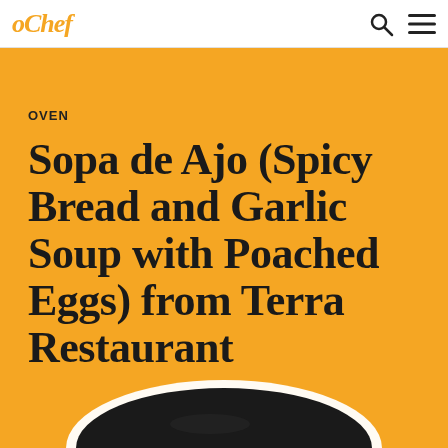oChef
OVEN
Sopa de Ajo (Spicy Bread and Garlic Soup with Poached Eggs) from Terra Restaurant
[Figure (photo): Top view of a dark/black bowl partially visible at the bottom of the yellow background area]